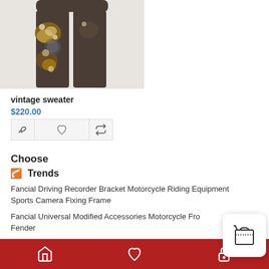[Figure (photo): Product photo of vintage sweater pants in dark brown/grey with floral/paisley print pattern, model wearing pants against white background]
vintage sweater
$220.00
[Figure (other): Action buttons row: hand/pointer icon, heart/wishlist icon, repeat/compare icon]
Choose
Trends
Fancial Driving Recorder Bracket Motorcycle Riding Equipment Sports Camera Fixing Frame
Fancial Universal Modified Accessories Motorcycle Fro... Fender
[Figure (other): Floating shopping bag / cart icon popup button]
Bottom navigation bar with home icon, heart/wishlist icon, and lock/account icon on dark red background